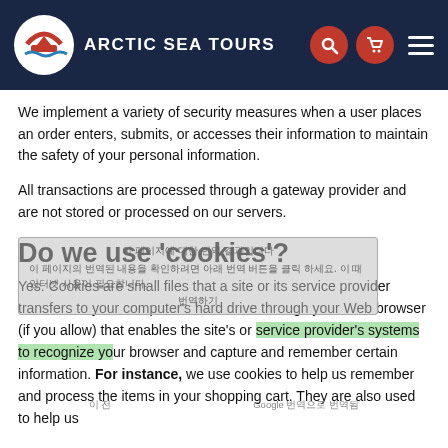ARCTIC SEA TOURS
We implement a variety of security measures when a user places an order enters, submits, or accesses their information to maintain the safety of your personal information.
All transactions are processed through a gateway provider and are not stored or processed on our servers.
Do we use 'cookies'?
Yes. Cookies are small files that a site or its service provider transfers to your computer's hard drive through your Web browser (if you allow) that enables the site's or service provider's systems to recognize your browser and capture and remember certain information. For instance, we use cookies to help us remember and process the items in your shopping cart. They are also used to help us